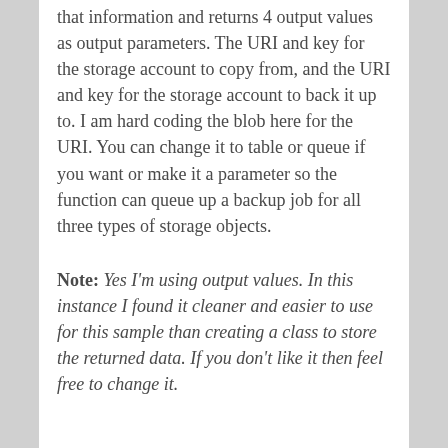that information and returns 4 output values as output parameters. The URI and key for the storage account to copy from, and the URI and key for the storage account to back it up to. I am hard coding the blob here for the URI. You can change it to table or queue if you want or make it a parameter so the function can queue up a backup job for all three types of storage objects.
Note: Yes I'm using output values. In this instance I found it cleaner and easier to use for this sample than creating a class to store the returned data. If you don't like it then feel free to change it.